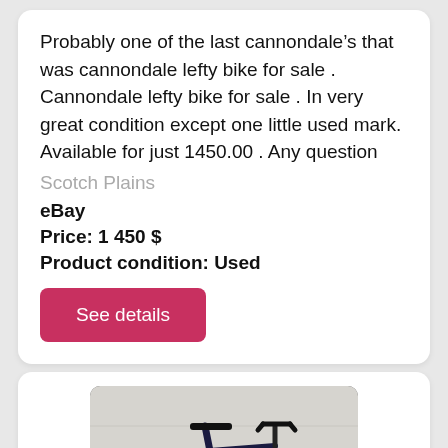Probably one of the last cannondale’s that was cannondale lefty bike for sale . Cannondale lefty bike for sale . In very great condition except one little used mark. Available for just 1450.00 . Any question
Scotch Plains
eBay
Price: 1 450 $
Product condition: Used
See details
[Figure (photo): A dark blue Cannondale full-suspension mountain bike leaning against a white wall on a grass lawn]